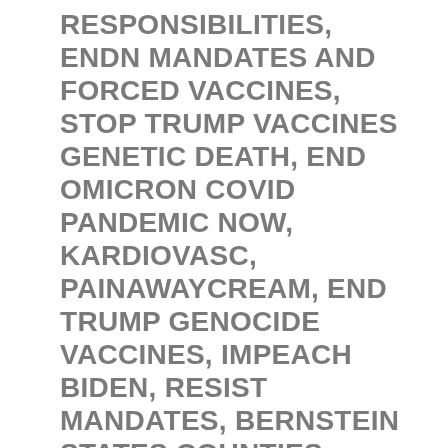RESPONSIBILITIES, ENDN MANDATES AND FORCED VACCINES, STOP TRUMP VACCINES GENETIC DEATH, END OMICRON COVID PANDEMIC NOW, KARDIOVASC, PAINAWAYCREAM, END TRUMP GENOCIDE VACCINES, IMPEACH BIDEN, RESIST MANDATES, BERNSTEIN STATES COUNTIES